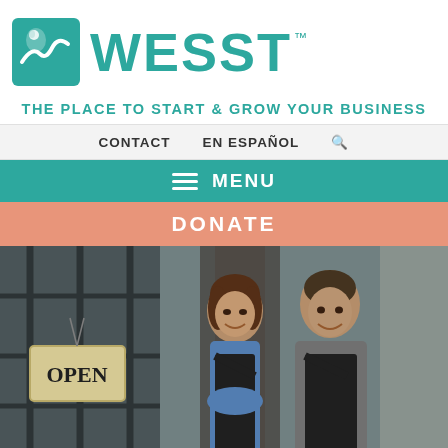[Figure (logo): WESST logo with teal square icon and WESST wordmark in teal, with TM superscript]
THE PLACE TO START & GROW YOUR BUSINESS
CONTACT   EN ESPAÑOL   🔍
≡  MENU
DONATE
[Figure (photo): A smiling woman and man in aprons standing in front of a shop with an OPEN sign hanging in the window]